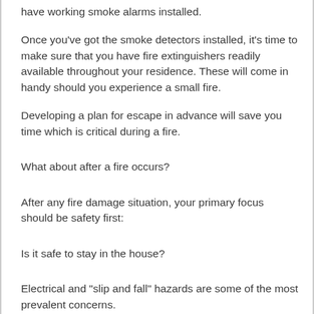have working smoke alarms installed.
Once you've got the smoke detectors installed, it's time to make sure that you have fire extinguishers readily available throughout your residence. These will come in handy should you experience a small fire.
Developing a plan for escape in advance will save you time which is critical during a fire.
What about after a fire occurs?
After any fire damage situation, your primary focus should be safety first:
Is it safe to stay in the house?
Electrical and "slip and fall" hazards are some of the most prevalent concerns.
Only do activities that are safe for you to perform.